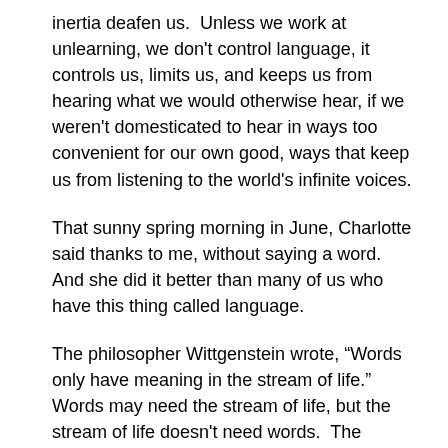inertia deafen us.  Unless we work at unlearning, we don't control language, it controls us, limits us, and keeps us from hearing what we would otherwise hear, if we weren't domesticated to hear in ways too convenient for our own good, ways that keep us from listening to the world's infinite voices.
That sunny spring morning in June, Charlotte said thanks to me, without saying a word.  And she did it better than many of us who have this thing called language.
The philosopher Wittgenstein wrote, “Words only have meaning in the stream of life.”  Words may need the stream of life, but the stream of life doesn't need words.  The stream of life needs us to listen.  Then, if we're paying attention, we can hear speech where we would least expect to, although it's taken me almost twenty-seven hundred words to convey that point.